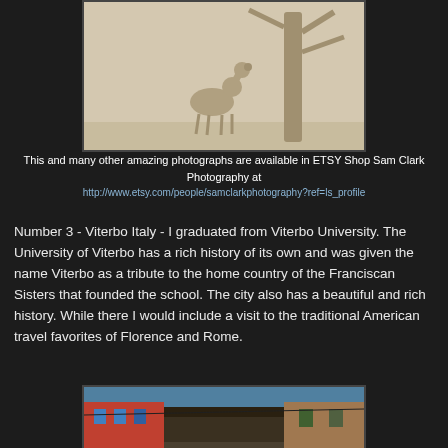[Figure (photo): Black and white/sepia photograph of a deer or goat standing near a tree in a field]
This and many other amazing photographs are available in ETSY Shop Sam Clark Photography at
http://www.etsy.com/people/samclarkphotography?ref=ls_profile
Number 3 - Viterbo Italy - I graduated from Viterbo University. The University of Viterbo has a rich history of its own and was given the name Viterbo as a tribute to the home country of the Franciscan Sisters that founded the school. The city also has a beautiful and rich history. While there I would include a visit to the traditional American travel favorites of Florence and Rome.
[Figure (photo): Colorful photograph of a narrow street in Viterbo Italy with old buildings on both sides]